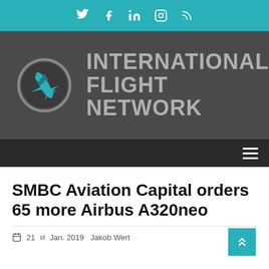Twitter  Facebook  LinkedIn  Instagram  RSS
[Figure (logo): International Flight Network logo: teal airplane in circular badge with grey ring, next to bold grey text reading INTERNATIONAL FLIGHT NETWORK]
[Figure (other): Dark navigation bar with hamburger menu icon on the right]
SMBC Aviation Capital orders 65 more Airbus A320neo
21st Jan. 2019  Jakob Wert